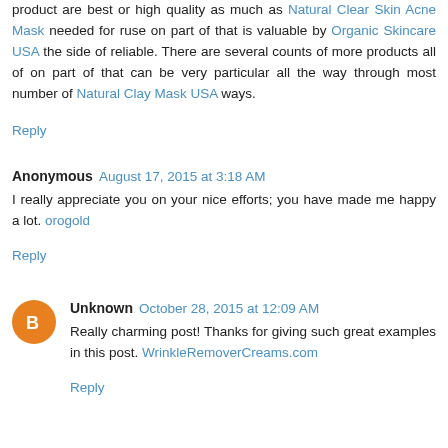product are best or high quality as much as Natural Clear Skin Acne Mask needed for ruse on part of that is valuable by Organic Skincare USA the side of reliable. There are several counts of more products all of on part of that can be very particular all the way through most number of Natural Clay Mask USA ways.
Reply
Anonymous  August 17, 2015 at 3:18 AM
I really appreciate you on your nice efforts; you have made me happy a lot. orogold
Reply
Unknown  October 28, 2015 at 12:09 AM
Really charming post! Thanks for giving such great examples in this post. WrinkleRemoverCreams.com
Reply